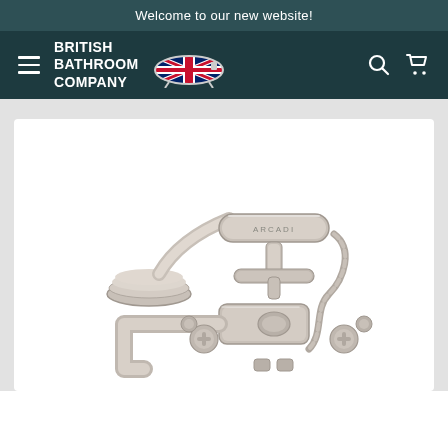Welcome to our new website!
[Figure (logo): British Bathroom Company logo with Union Jack bathtub graphic, hamburger menu, search and cart icons on dark teal navigation bar]
[Figure (photo): Close-up photo of a polished nickel/chrome vintage-style bath filler tap with hand shower, cross-head handles, and flexible hose on white background]